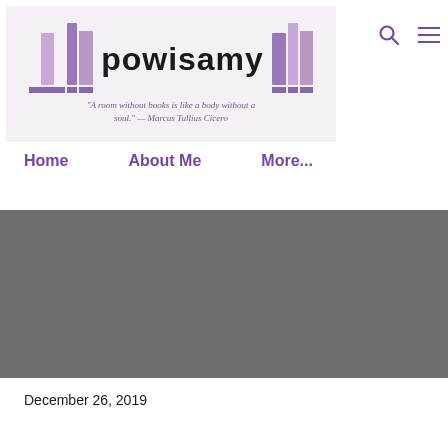[Figure (logo): powisamy blog logo with book icons and quote 'A room without books is like a body without a soul.' — Marcus Tullius Cicero]
Home   About Me   More...
Losing Contact and Coming Back: My Social Media Journey
December 26, 2019